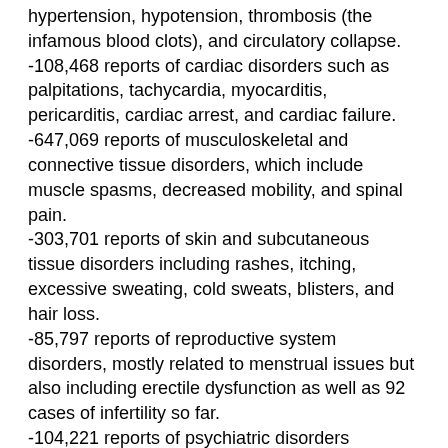hypertension, hypotension, thrombosis (the infamous blood clots), and circulatory collapse.
-108,468 reports of cardiac disorders such as palpitations, tachycardia, myocarditis, pericarditis, cardiac arrest, and cardiac failure.
-647,069 reports of musculoskeletal and connective tissue disorders, which include muscle spasms, decreased mobility, and spinal pain.
-303,701 reports of skin and subcutaneous tissue disorders including rashes, itching, excessive sweating, cold sweats, blisters, and hair loss.
-85,797 reports of reproductive system disorders, mostly related to menstrual issues but also including erectile dysfunction as well as 92 cases of infertility so far.
-104,221 reports of psychiatric disorders including confusional states, hallucinations, delirium, psychotic disorders, and suicidal ideation.
-30,071 reports of ...